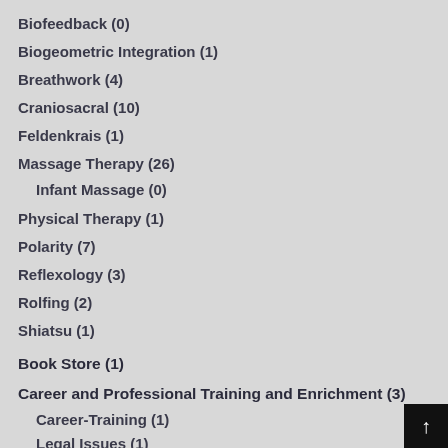Biofeedback (0)
Biogeometric Integration (1)
Breathwork (4)
Craniosacral (10)
Feldenkrais (1)
Massage Therapy (26)
Infant Massage (0)
Physical Therapy (1)
Polarity (7)
Reflexology (3)
Rolfing (2)
Shiatsu (1)
Book Store (1)
Career and Professional Training and Enrichment (3)
Career-Training (1)
Legal Issues (1)